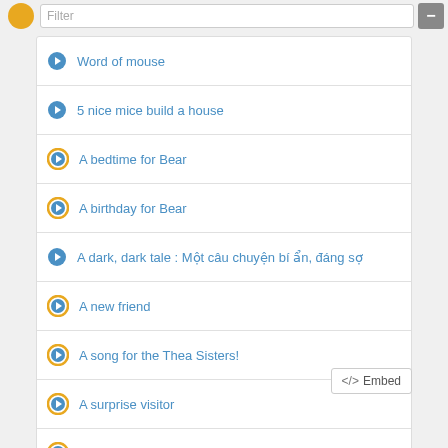Word of mouse
5 nice mice build a house
A bedtime for Bear
A birthday for Bear
A dark, dark tale : Một câu chuyện bí ẩn, đáng sợ
A new friend
A song for the Thea Sisters!
A surprise visitor
A world to explore
</> Embed